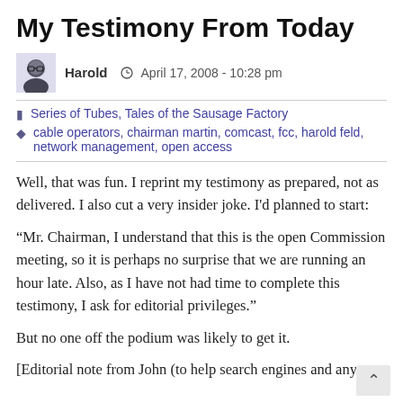My Testimony From Today
Harold   April 17, 2008 - 10:28 pm
Series of Tubes, Tales of the Sausage Factory
cable operators, chairman martin, comcast, fcc, harold feld, network management, open access
Well, that was fun. I reprint my testimony as prepared, not as delivered. I also cut a very insider joke. I'd planned to start:
“Mr. Chairman, I understand that this is the open Commission meeting, so it is perhaps no surprise that we are running an hour late. Also, as I have not had time to complete this testimony, I ask for editorial privileges.”
But no one off the podium was likely to get it.
[Editorial note from John (to help search engines and any